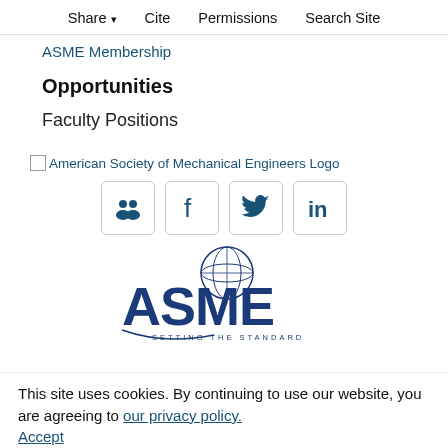Share  Cite  Permissions  Search Site
ASME Membership
Opportunities
Faculty Positions
[Figure (logo): American Society of Mechanical Engineers Logo (broken image placeholder with alt text)]
[Figure (infographic): Social media icons: community/group icon, Facebook (f), Twitter (bird), LinkedIn (in) — each in a rounded square button outline, steel blue color]
[Figure (logo): ASME logo — large stylized 'ASME' text in dark blue with globe graphic, tagline 'SETTING THE STANDARD' below]
This site uses cookies. By continuing to use our website, you are agreeing to our privacy policy. Accept